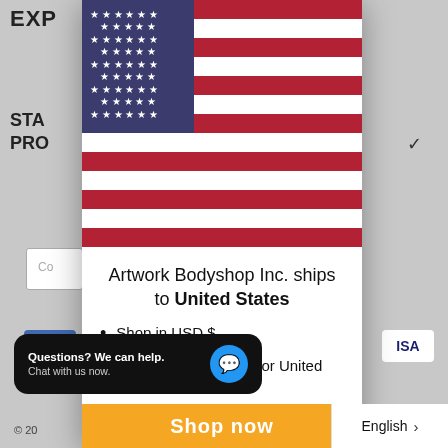[Figure (screenshot): Background webpage showing checkout page with payment fields, AMEX and VISA card logos, partially visible behind a modal overlay]
[Figure (illustration): United States flag SVG illustration shown at top of modal popup]
Artwork Bodyshop Inc. ships to United States
Shop in USD $
Get shipping options for United States
[Figure (screenshot): Orange 'Shop now' button at bottom of modal]
Questions? We can help. Chat with us now.
English